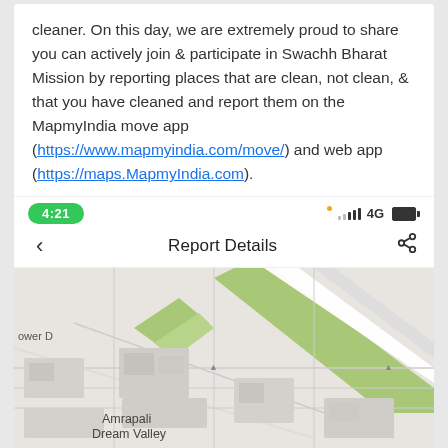cleaner. On this day, we are extremely proud to share you can actively join & participate in Swachh Bharat Mission by reporting places that are clean, not clean, & that you have cleaned and report them on the MapmyIndia move app (https://www.mapmyindia.com/move/) and web app (https://maps.MapmyIndia.com).
[Figure (screenshot): Mobile app screenshot showing status bar with time 4:21, 4G signal and battery, a navigation bar titled 'Report Details' with back and share icons, and a map view showing streets and green areas with 'Amrapali Dream Valley' label and 'ower D' partial label.]